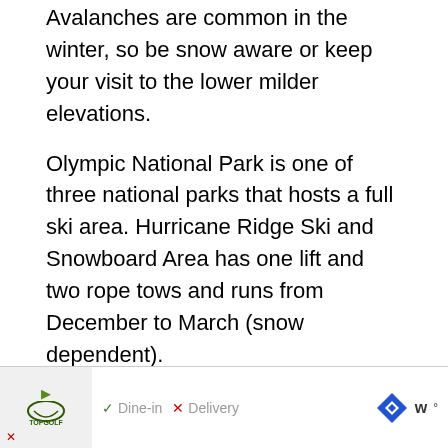Avalanches are common in the winter, so be snow aware or keep your visit to the lower milder elevations.
Olympic National Park is one of three national parks that hosts a full ski area. Hurricane Ridge Ski and Snowboard Area has one lift and two rope tows and runs from December to March (snow dependent).
Learn more about Olympic National Park here.
9. Hawaii Volcanoes National Park
[Figure (screenshot): Advertisement banner at the bottom of the page showing Topgolf logo with play button, Dine-in and Delivery options, navigation/map icon, and WW logo.]